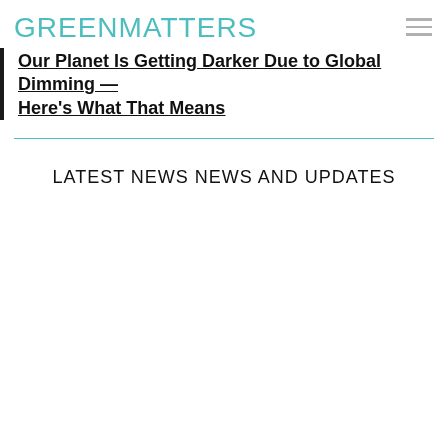GREENMATTERS
Our Planet Is Getting Darker Due to Global Dimming — Here's What That Means
LATEST NEWS NEWS AND UPDATES